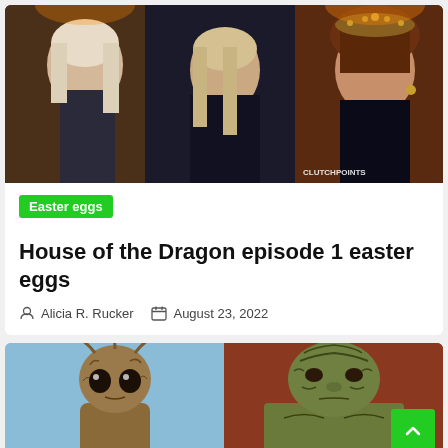[Figure (photo): House of the Dragon promo image with three characters — a pale man with white-blond hair on left, a blonde woman in center, and a dark-haired woman with ornate headdress on right. Watermark reads CLUTCHPOINTS.]
Easter eggs
House of the Dragon episode 1 easter eggs
Alicia R. Rucker   August 23, 2022
[Figure (photo): Two side-by-side images: left shows Baby Groot from Guardians of the Galaxy on a blue background; right shows a muscular green-painted bald man (Drax) against a reddish background.]